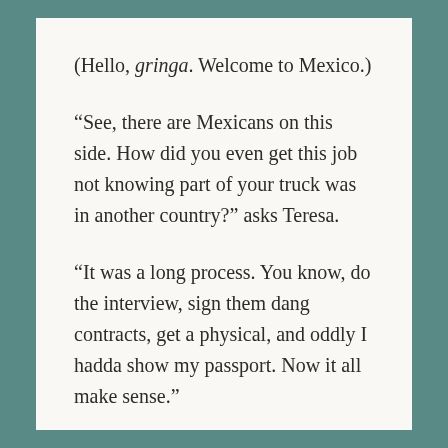(Hello, gringa. Welcome to Mexico.)
“See, there are Mexicans on this side. How did you even get this job not knowing part of your truck was in another country?” asks Teresa.
“It was a long process. You know, do the interview, sign them dang contracts, get a physical, and oddly I hadda show my passport. Now it all make sense.”